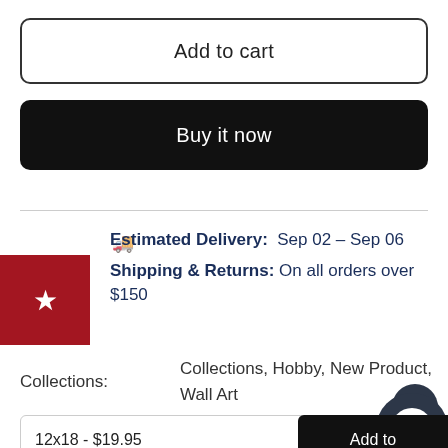Add to cart
Buy it now
Estimated Delivery: Sep 02 - Sep 06
Shipping & Returns: On all orders over $150
Collections:
Collections, Hobby, New Product, Wall Art
12x18 - $19.95
Add to